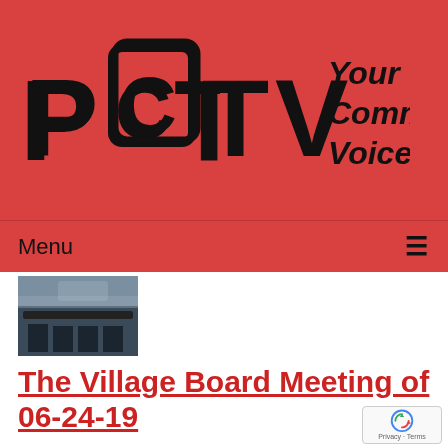[Figure (logo): PCTV logo with text 'Your Community Voice' on red background]
Menu ≡
[Figure (photo): Thumbnail photo of a village board meeting room with chairs and tables]
The Village Board Meeting of 06-24-19
Airdate: 06/24/2019
Watched: 8 times
[Figure (photo): Thumbnail photo of people at a meeting]